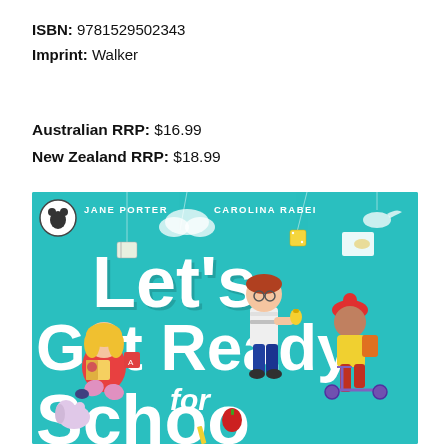ISBN: 9781529502343
Imprint: Walker
Australian RRP: $16.99
New Zealand RRP: $18.99
[Figure (illustration): Book cover of 'Let's Get Ready for School' by Jane Porter and Carolina Rabei. Teal/turquoise background with three illustrated children: a girl sitting reading a book on the left, a boy with glasses holding a bell in the center, and a child on a scooter with a backpack on the right. Various school-related decorative elements floating around. Walker Books bear logo in top left. Large white bubble-letter title text.]